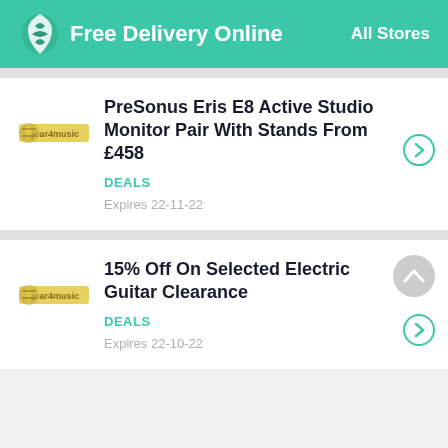Free Delivery Online — All Stores
PreSonus Eris E8 Active Studio Monitor Pair With Stands From £458
DEALS
Expires 22-11-22
15% Off On Selected Electric Guitar Clearance
DEALS
Expires 22-10-22